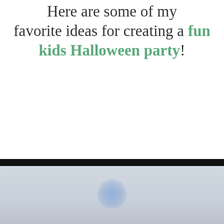Here are some of my favorite ideas for creating a fun kids Halloween party!
[Figure (photo): Partial photo visible at bottom of page, showing a dark top bar and a light blue-gray background with a faint glowing blue circular light element, likely a Halloween party decoration or candle.]